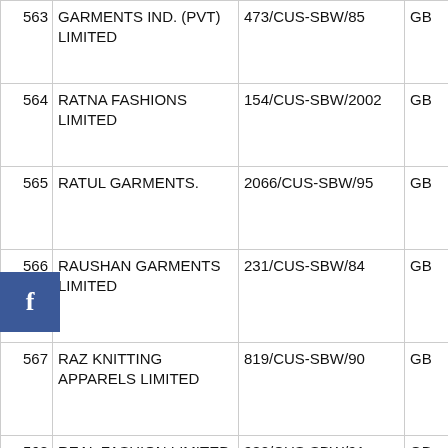| No. | Name | Registration | Country | Code |
| --- | --- | --- | --- | --- |
| 563 | GARMENTS IND. (PVT) LIMITED | 473/CUS-SBW/85 | GB | 09 |
| 564 | RATNA FASHIONS LIMITED | 154/CUS-SBW/2002 | GB | 09 |
| 565 | RATUL GARMENTS. | 2066/CUS-SBW/95 | GB | 09 |
| 566 | RAUSHAN GARMENTS LIMITED | 231/CUS-SBW/84 | GB | 09 |
| 567 | RAZ KNITTING APPARELS LIMITED | 819/CUS-SBW/90 | GB | 09 |
| 568 | REAL FASHION LIMITED | 982/CUS-SBW/91 | GB | 09 |